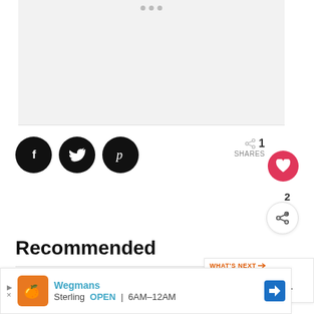[Figure (photo): Blank/light gray image area at the top with three dot indicators]
[Figure (infographic): Social sharing buttons: Facebook (f), Twitter (bird), Pinterest (p) icons in black circles]
1 SHARES
[Figure (infographic): Heart/like button in red circle, share count 2 with circular share button]
Recommended
[Figure (infographic): WHAT'S NEXT panel showing 'This Mini Projector Wi...' with thumbnail image]
These Engraved Pet
[Figure (screenshot): Ad banner: Wegmans Sterling OPEN 6AM-12AM with logo and navigation icon]